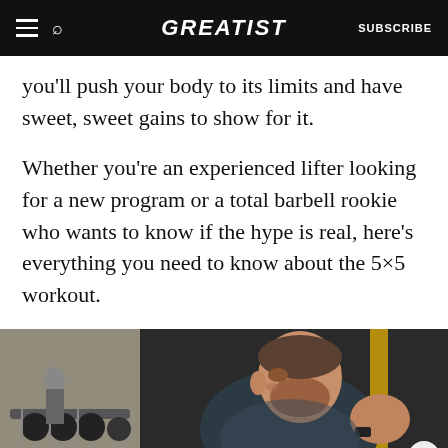GREATIST | SUBSCRIBE
you’ll push your body to its limits and have sweet, sweet gains to show for it.
Whether you’re an experienced lifter looking for a new program or a total barbell rookie who wants to know if the hype is real, here’s everything you need to know about the 5×5 workout.
[Figure (photo): A bearded man in a dark athletic shirt working out in a gym, with dumbbells and gym equipment visible in the background.]
ADVERTISEMENT
Get the health & wellness stuff that matters. SUBSCRIBE